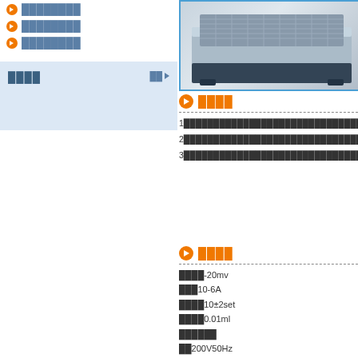████████
████████
████████
████
██▶
[Figure (photo): Product device photo - gray rectangular device]
████
1████████████████████████████████████████
2████████████████████████████████████████
3████████████████████████████████████LED██
████
████-20mv
███10-6A
████10±2set
████0.01ml
██████
██200V50Hz